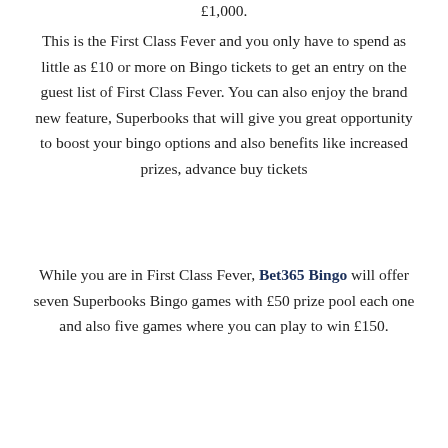£1,000.
This is the First Class Fever and you only have to spend as little as £10 or more on Bingo tickets to get an entry on the guest list of First Class Fever. You can also enjoy the brand new feature, Superbooks that will give you great opportunity to boost your bingo options and also benefits like increased prizes, advance buy tickets
While you are in First Class Fever, Bet365 Bingo will offer seven Superbooks Bingo games with £50 prize pool each one and also five games where you can play to win £150.